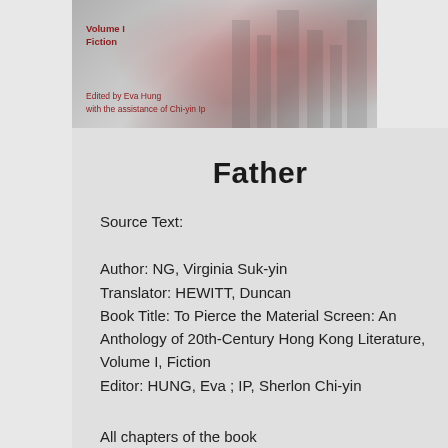[Figure (illustration): Book cover image showing 'Volume I Fiction' and 'Edited by Eva Hung with the assistance of Chi-yin Ip' with a reddish urban/architectural background photo]
Father
Source Text:
Author: NG, Virginia Suk-yin
Translator: HEWITT, Duncan
Book Title: To Pierce the Material Screen: An Anthology of 20th-Century Hong Kong Literature, Volume I, Fiction
Editor: HUNG, Eva ; IP, Sherlon Chi-yin
All chapters of the book